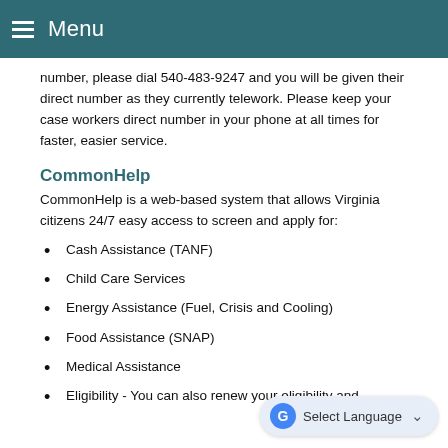Menu
number, please dial 540-483-9247 and you will be given their direct number as they currently telework. Please keep your case workers direct number in your phone at all times for faster, easier service.
CommonHelp
CommonHelp is a web-based system that allows Virginia citizens 24/7 easy access to screen and apply for:
Cash Assistance (TANF)
Child Care Services
Energy Assistance (Fuel, Crisis and Cooling)
Food Assistance (SNAP)
Medical Assistance
Eligibility - You can also renew your eligibility and